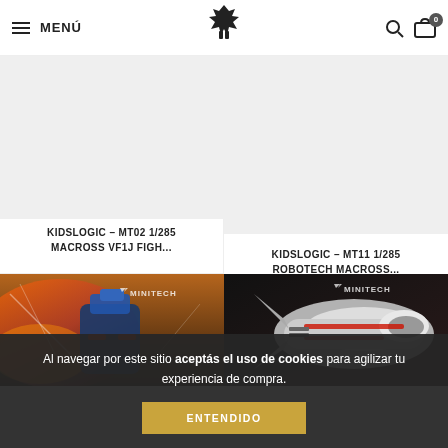MENÚ
[Figure (screenshot): Website product listing page showing two product cards on top row with light gray placeholder images for Kidslogic models, and two product cards on bottom row showing Macross fighter jet imagery with 'MINITECH' branding watermark]
KIDSLOGIC - MT02 1/285 MACROSS VF1J FIGH...
KIDSLOGIC - MT11 1/285 ROBOTECH MACROSS...
Al navegar por este sitio aceptás el uso de cookies para agilizar tu experiencia de compra.
ENTENDIDO